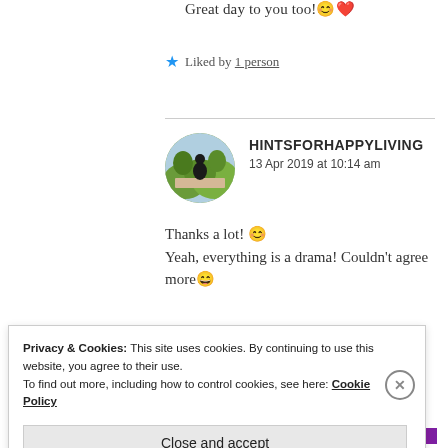Great day to you too! 😊❤️
★ Liked by 1 person
HINTSFORHAPPYLIVING
13 Apr 2019 at 10:14 am
Thanks a lot! 😊
Yeah, everything is a drama! Couldn't agree more 😄
Privacy & Cookies: This site uses cookies. By continuing to use this website, you agree to their use.
To find out more, including how to control cookies, see here: Cookie Policy
Close and accept